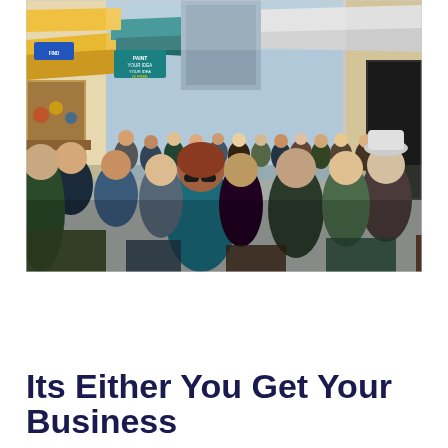[Figure (photo): A crowded outdoor market street with colorful awnings (yellow, teal, white), vendors, signs including one reading 'PAINT YOUR IDEA' and 'YOUR IDEA IS FREE', dense crowd of people walking through a narrow market alley with storefronts on both sides.]
Its Either You Get Your Business